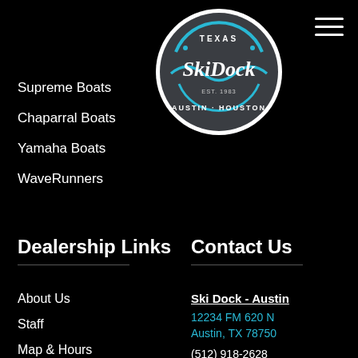[Figure (logo): Ski Dock Texas circular logo with blue wave design, text reading 'TEXAS Ski Dock EST. 1983 AUSTIN · HOUSTON' on dark grey background with white border]
Supreme Boats
Chaparral Boats
Yamaha Boats
WaveRunners
Dealership Links
Contact Us
About Us
Staff
Map & Hours
Event Calendar
Waiver
Ski Dock - Austin
12234 FM 620 N
Austin, TX 78750
(512) 918-2628
Ski Dock - Houston